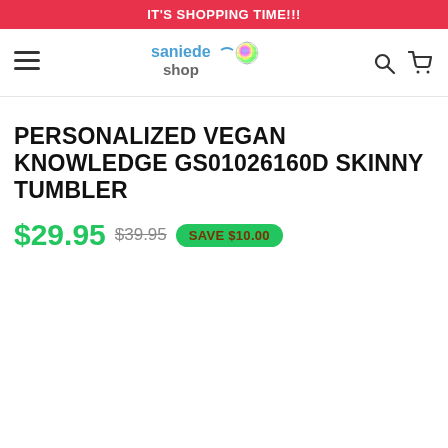IT'S SHOPPING TIME!!!
[Figure (logo): Saniede Shop logo with colorful globe icon and teal/gray text]
PERSONALIZED VEGAN KNOWLEDGE GS01026160D SKINNY TUMBLER
$29.95  $39.95  SAVE $10.00